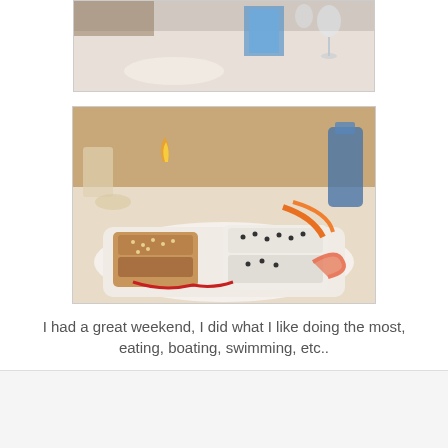[Figure (photo): Partial top photo of a restaurant table setting, cropped at top of page]
[Figure (photo): Photo of sushi rolls on a white plate with garnishes, taken in a restaurant setting]
I had a great weekend, I did what I like doing the most, eating, boating, swimming, etc..
CLARILLAPILLA
Share